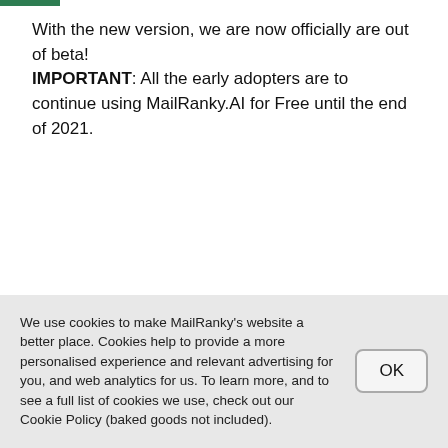With the new version, we are now officially are out of beta! IMPORTANT: All the early adopters are to continue using MailRanky.AI for Free until the end of 2021.
2
We use cookies to make MailRanky's website a better place. Cookies help to provide a more personalised experience and relevant advertising for you, and web analytics for us. To learn more, and to see a full list of cookies we use, check out our Cookie Policy (baked goods not included).